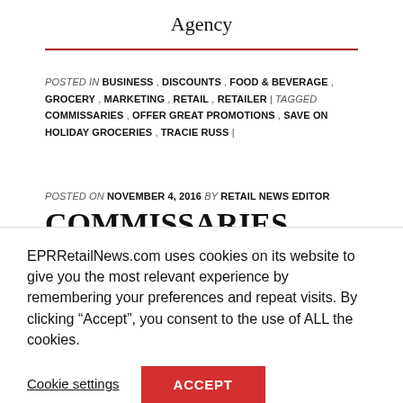Agency
POSTED IN BUSINESS , DISCOUNTS , FOOD & BEVERAGE , GROCERY , MARKETING , RETAIL , RETAILER | TAGGED COMMISSARIES , OFFER GREAT PROMOTIONS , SAVE ON HOLIDAY GROCERIES , TRACIE RUSS |
POSTED ON NOVEMBER 4, 2016 BY RETAIL NEWS EDITOR
COMMISSARIES RECOGNIZE ALL MILITARY THIS NOVEMBER
EPRRetailNews.com uses cookies on its website to give you the most relevant experience by remembering your preferences and repeat visits. By clicking “Accept”, you consent to the use of ALL the cookies.
Cookie settings
ACCEPT